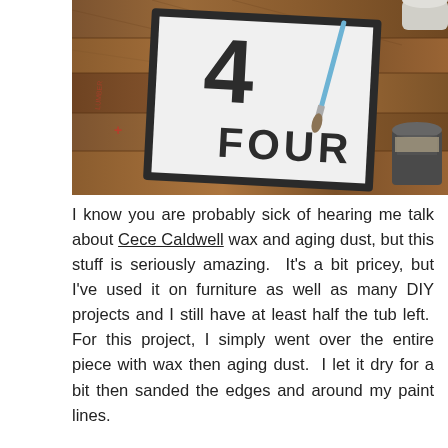[Figure (photo): Photo of a framed sign on a wood floor showing the number '4' and the word 'FOUR' in large dark letters on white background, with a paintbrush, paint can lid, and small jar visible on the wooden floor beside it.]
I know you are probably sick of hearing me talk about Cece Caldwell wax and aging dust, but this stuff is seriously amazing.  It's a bit pricey, but I've used it on furniture as well as many DIY projects and I still have at least half the tub left.  For this project, I simply went over the entire piece with wax then aging dust.  I let it dry for a bit then sanded the edges and around my paint lines.